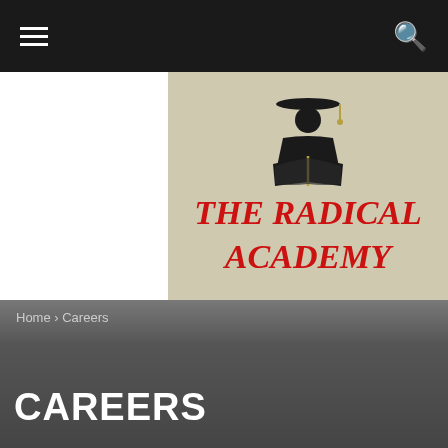[Figure (logo): The Radical Academy logo with graduation figure holding open book and bold red serif text]
Home › Careers
CAREERS